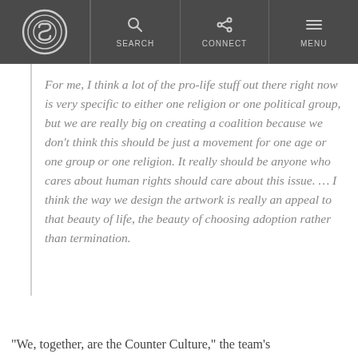S [logo] | SEARCH | CONNECT | MENU
For me, I think a lot of the pro-life stuff out there right now is very specific to either one religion or one political group, but we are really big on creating a coalition because we don’t think this should be just a movement for one age or one group or one religion. It really should be anyone who cares about human rights should care about this issue. … I think the way we design the artwork is really an appeal to that beauty of life, the beauty of choosing adoption rather than termination.
“We, together, are the Counter Culture,” the team’s